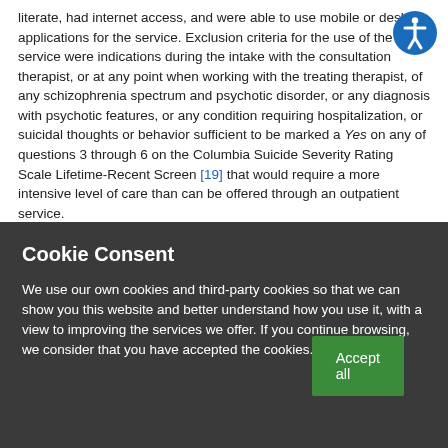literate, had internet access, and were able to use mobile or desktop applications for the service. Exclusion criteria for the use of the service were indications during the intake with the consultation therapist, or at any point when working with the treating therapist, of any schizophrenia spectrum and psychotic disorder, or any diagnosis with psychotic features, or any condition requiring hospitalization, or suicidal thoughts or behavior sufficient to be marked a Yes on any of questions 3 through 6 on the Columbia Suicide Severity Rating Scale Lifetime-Recent Screen [19] that would require a more intensive level of care than can be offered through an outpatient service.
Cookie Consent
We use our own cookies and third-party cookies so that we can show you this website and better understand how you use it, with a view to improving the services we offer. If you continue browsing, we consider that you have accepted the cookies.